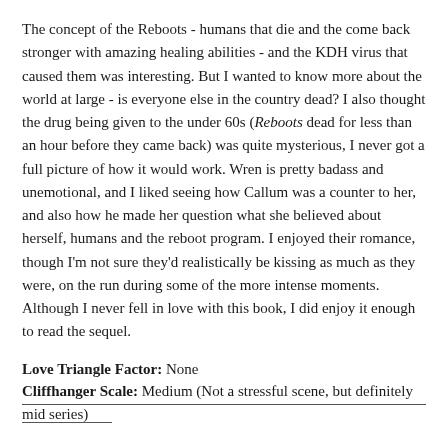The concept of the Reboots - humans that die and the come back stronger with amazing healing abilities - and the KDH virus that caused them was interesting. But I wanted to know more about the world at large - is everyone else in the country dead? I also thought the drug being given to the under 60s (Reboots dead for less than an hour before they came back) was quite mysterious, I never got a full picture of how it would work. Wren is pretty badass and unemotional, and I liked seeing how Callum was a counter to her, and also how he made her question what she believed about herself, humans and the reboot program. I enjoyed their romance, though I'm not sure they'd realistically be kissing as much as they were, on the run during some of the more intense moments. Although I never fell in love with this book, I did enjoy it enough to read the sequel.
Love Triangle Factor: None
Cliffhanger Scale: Medium (Not a stressful scene, but definitely mid series)